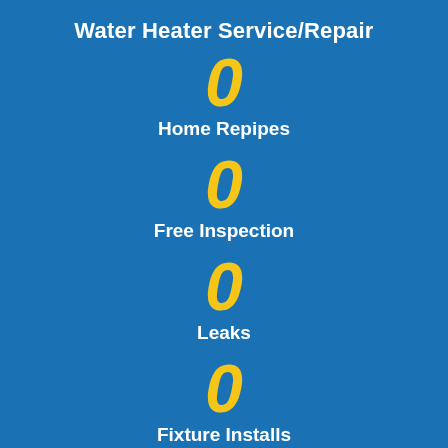Water Heater Service/Repair
0
Home Repipes
0
Free Inspection
0
Leaks
0
Fixture Installs